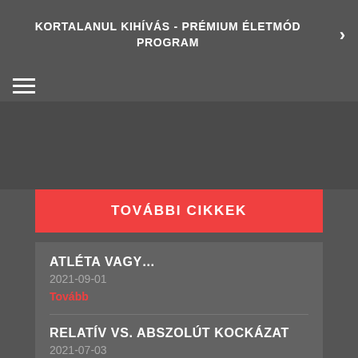KORTALANUL KIHÍVÁS - PRÉMIUM ÉLETMÓD PROGRAM
[Figure (other): Hamburger menu icon (three horizontal lines)]
[Figure (other): Dark gray empty banner/image block]
TOVÁBBI CIKKEK
ATLÉTA VAGY...
2021-09-01
Tovább
RELATÍV VS. ABSZOLÚT KOCKÁZAT
2021-07-03